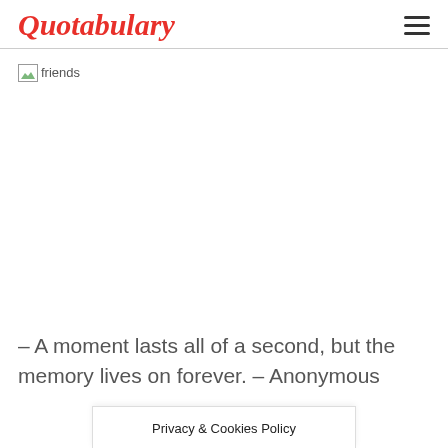Quotabulary
[Figure (photo): Broken image placeholder labeled 'friends']
– A moment lasts all of a second, but the memory lives on forever. – Anonymous
Privacy & Cookies Policy